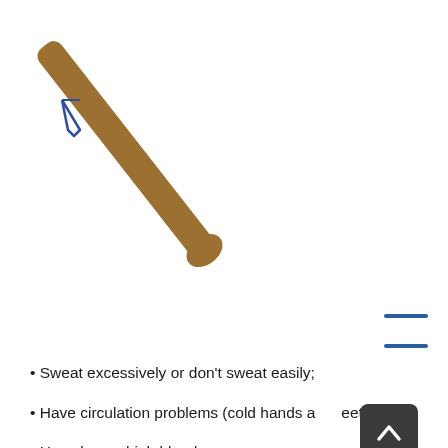[Figure (illustration): A diagonal brown/tan wooden stick or spatula-like object oriented from upper-left to lower-right, with a small blue safety pin or wire clip near the top-left end.]
Sweat excessively or don't sweat easily;
Have circulation problems (cold hands and feet);
Have low or high blood pressure;